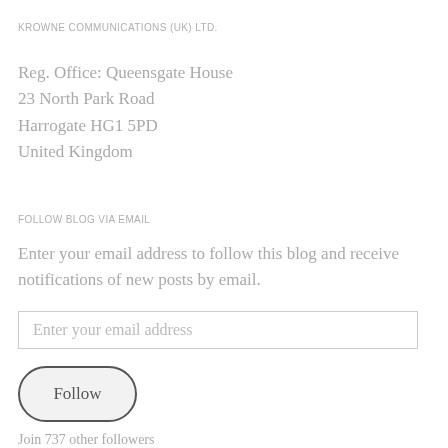KROWNE COMMUNICATIONS (UK) LTD.
Reg. Office: Queensgate House
23 North Park Road
Harrogate HG1 5PD
United Kingdom
FOLLOW BLOG VIA EMAIL
Enter your email address to follow this blog and receive notifications of new posts by email.
Enter your email address
Follow
Join 737 other followers